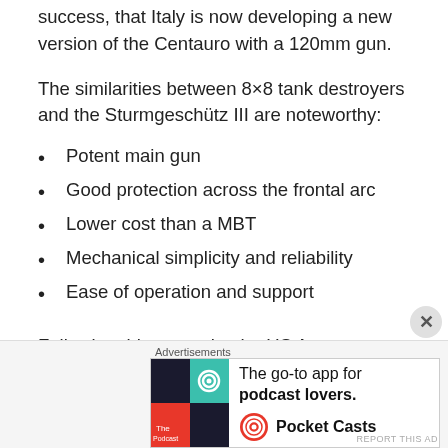success, that Italy is now developing a new version of the Centauro with a 120mm gun.
The similarities between 8×8 tank destroyers and the Sturmgeschütz III are noteworthy:
Potent main gun
Good protection across the frontal arc
Lower cost than a MBT
Mechanical simplicity and reliability
Ease of operation and support
Following this example, the US Army adopted the
[Figure (other): Advertisement banner for Pocket Casts podcast app with colorful logo and text 'The go-to app for podcast lovers.']